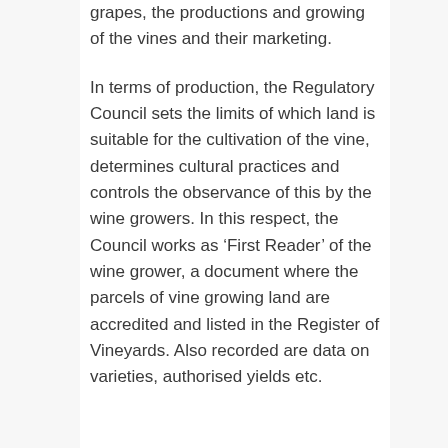grapes, the productions and growing of the vines and their marketing.
In terms of production, the Regulatory Council sets the limits of which land is suitable for the cultivation of the vine, determines cultural practices and controls the observance of this by the wine growers. In this respect, the Council works as ‘First Reader’ of the wine grower, a document where the parcels of vine growing land are accredited and listed in the Register of Vineyards. Also recorded are data on varieties, authorised yields etc.